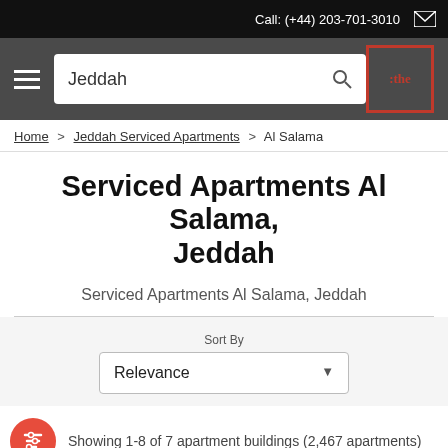Call: (+44) 203-701-3010
[Figure (screenshot): Navigation bar with hamburger menu, Jeddah search box, and branded logo with red border showing ':the']
Home > Jeddah Serviced Apartments > Al Salama
Serviced Apartments Al Salama, Jeddah
Serviced Apartments Al Salama, Jeddah
Sort By Relevance
Showing 1-8 of 7 apartment buildings (2,467 apartments)